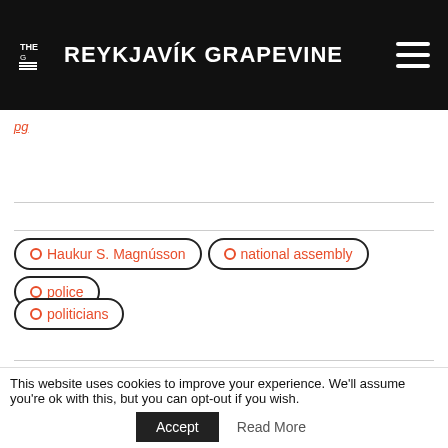THE REYKJAVÍK GRAPEVINE
pg
○ Haukur S. Magnússon
○ national assembly
○ police
○ politicians
Search for
1. ICELAND TOUR PACKAGES
2. SENIOR ICELAND TRAVEL DISCOUNTS
This website uses cookies to improve your experience. We'll assume you're ok with this, but you can opt-out if you wish.